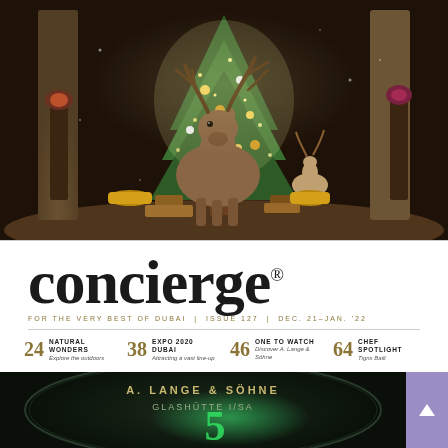[Figure (photo): A reindeer standing in a luxurious hotel lobby with a decorated Christmas tree, golden gifts, warm lighting, and marble columns in the background.]
concierge®
FOR THE VERY BEST OF DUBAI | ISSUE 127 | DEC. 21-JAN. '22
24 NATURAL WONDERS Explore the outdoors
38 EXPO 2020 DUBAI Attracting a vast line-up
46 ONE TO WATCH Discover A. Lange & Söhne
64 CHEF SPOTLIGHT Tigns Baili
[Figure (photo): Close-up of an A. Lange & Söhne watch face showing the brand name 'A. LANGE & SÖHNE' and 'GLASHÜTTE I/SA' engraved on a dark dial with green accents.]